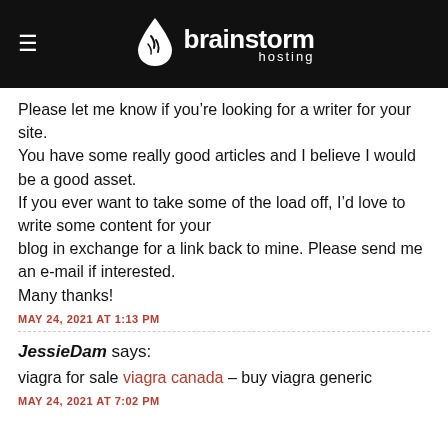brainstorm hosting
Please let me know if you’re looking for a writer for your site.
You have some really good articles and I believe I would be a good asset.
If you ever want to take some of the load off, I’d love to write some content for your blog in exchange for a link back to mine. Please send me an e-mail if interested.
Many thanks!
MAY 24, 2021 AT 1:13 PM
JessieDam says:
viagra for sale viagra canada – buy viagra generic
MAY 24, 2021 AT 7:02 PM